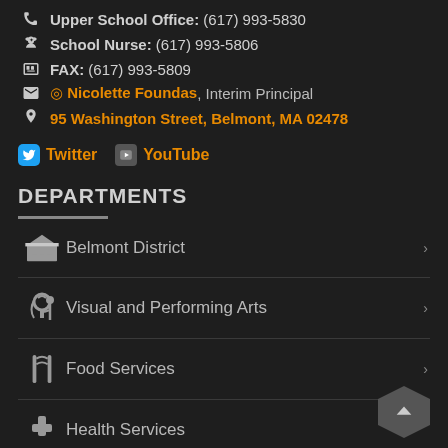Upper School Office: (617) 993-5830
School Nurse: (617) 993-5806
FAX: (617) 993-5809
Nicolette Foundas, Interim Principal
95 Washington Street, Belmont, MA 02478
Twitter  YouTube
DEPARTMENTS
Belmont District
Visual and Performing Arts
Food Services
Health Services